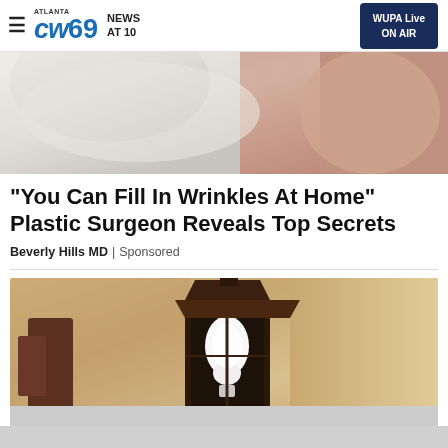ATLANTA CW69 NEWS AT 10 | WUPA Live ON AIR
[Figure (photo): Top portion of a person in a white long-sleeve shirt with arm raised, skin visible in background]
"You Can Fill In Wrinkles At Home" Plastic Surgeon Reveals Top Secrets
Beverly Hills MD | Sponsored
[Figure (photo): Outdoor wall lantern/light fixture mounted on a textured stucco wall, containing a white light bulb]